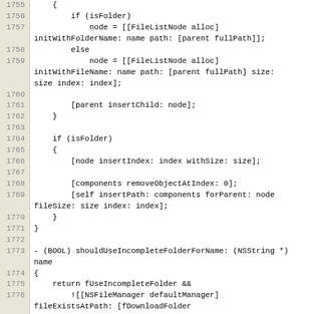Source code listing, lines 1755-1781, Objective-C code for file list node insertion and folder management methods.